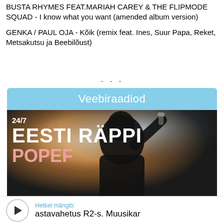BUSTA RHYMES FEAT.MARIAH CAREY & THE FLIPMODE SQUAD - I know what you want (amended album version)

GENKA / PAUL OJA - Kõik (remix feat. Ines, Suur Papa, Reket, Metsakutsu ja Beebilõust)
...
Veebiraadiod
[Figure (photo): A silhouette of a person holding a microphone with dramatic backlit stage lighting. White text overlaid reads '24/7' (small), 'EESTI RÄPPI' (large bold), and 'POPEF' (large bold, pinkish/salmon color, partially visible).]
Hetkel mängib: astavahetus R2-s. Muusikar